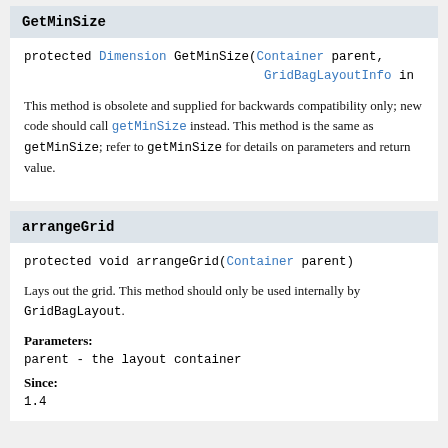GetMinSize
protected Dimension GetMinSize(Container parent, GridBagLayoutInfo in
This method is obsolete and supplied for backwards compatibility only; new code should call getMinSize instead. This method is the same as getMinSize; refer to getMinSize for details on parameters and return value.
arrangeGrid
protected void arrangeGrid(Container parent)
Lays out the grid. This method should only be used internally by GridBagLayout.
Parameters:
parent - the layout container
Since:
1.4